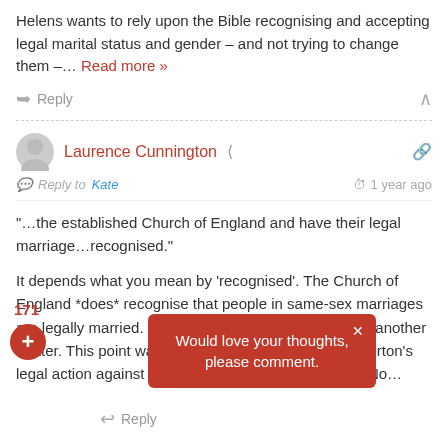Helens wants to rely upon the Bible recognising and accepting legal marital status and gender – and not trying to change them –… Read more »
Reply
Laurence Cunnington
Reply to Kate  1 year ago
"…the established Church of England and have their legal marriage…recognised."
It depends what you mean by 'recognised'. The Church of England *does* recognise that people in same-sex marriages are legally married. Its objection to those marriages is another matter. This point was not contested in Jeremy Pemberton's legal action against the acting Bishop of Southwell & No…
Would love your thoughts, please comment.